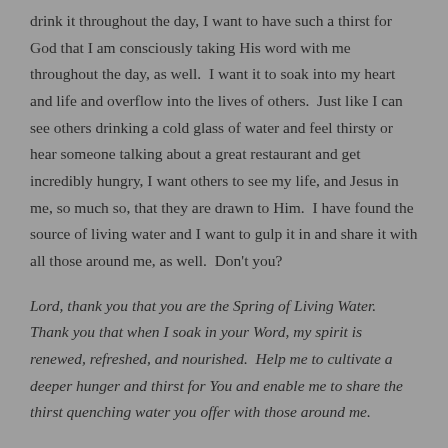drink it throughout the day, I want to have such a thirst for God that I am consciously taking His word with me throughout the day, as well.  I want it to soak into my heart and life and overflow into the lives of others.  Just like I can see others drinking a cold glass of water and feel thirsty or hear someone talking about a great restaurant and get incredibly hungry, I want others to see my life, and Jesus in me, so much so, that they are drawn to Him.  I have found the source of living water and I want to gulp it in and share it with all those around me, as well.  Don't you?
Lord, thank you that you are the Spring of Living Water.  Thank you that when I soak in your Word, my spirit is renewed, refreshed, and nourished.  Help me to cultivate a deeper hunger and thirst for You and enable me to share the thirst quenching water you offer with those around me.